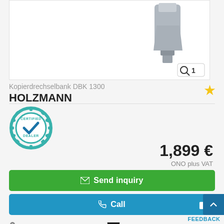[Figure (photo): Product image of Kopierdrechselbank DBK 1300 lathe, partially visible at top. Zoom icon with number 1 in bottom right corner.]
Kopierdrechselbank DBK 1300
HOLZMANN
[Figure (logo): Certified Dealer badge/seal in teal color with checkmark]
1,899 €
ONO plus VAT
✉ Send inquiry
✆ Call
Leipzig-Stahmeln, Germany 🇩🇪
(dealership location)
new